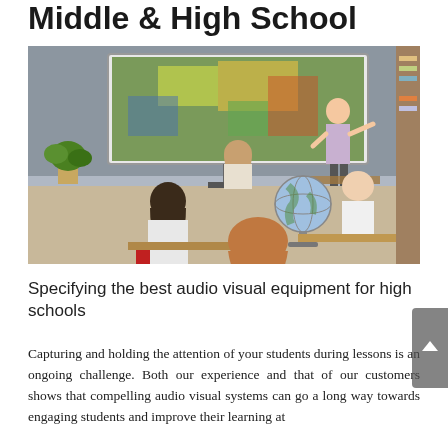Middle & High School
[Figure (photo): Classroom scene with a teacher pointing at an interactive whiteboard displaying a colorful map, while students sit at desks with a globe visible on one desk]
Specifying the best audio visual equipment for high schools
Capturing and holding the attention of your students during lessons is an ongoing challenge. Both our experience and that of our customers shows that compelling audio visual systems can go a long way towards engaging students and improve their learning at